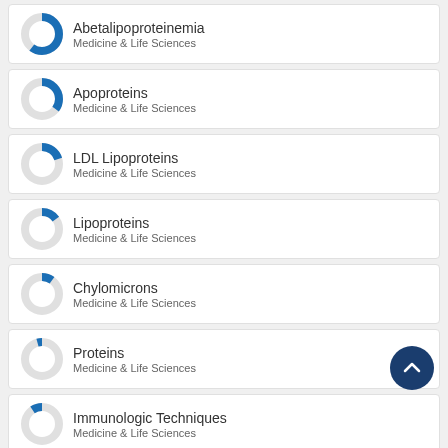[Figure (donut-chart): Donut chart ~85% filled blue]
Abetalipoproteinemia
Medicine & Life Sciences
[Figure (donut-chart): Donut chart ~60% filled blue]
Apoproteins
Medicine & Life Sciences
[Figure (donut-chart): Donut chart ~45% filled blue]
LDL Lipoproteins
Medicine & Life Sciences
[Figure (donut-chart): Donut chart ~40% filled blue]
Lipoproteins
Medicine & Life Sciences
[Figure (donut-chart): Donut chart ~35% filled blue]
Chylomicrons
Medicine & Life Sciences
[Figure (donut-chart): Donut chart ~20% filled blue]
Proteins
Medicine & Life Sciences
[Figure (donut-chart): Donut chart ~15% filled blue]
Immunologic Techniques
Medicine & Life Sciences